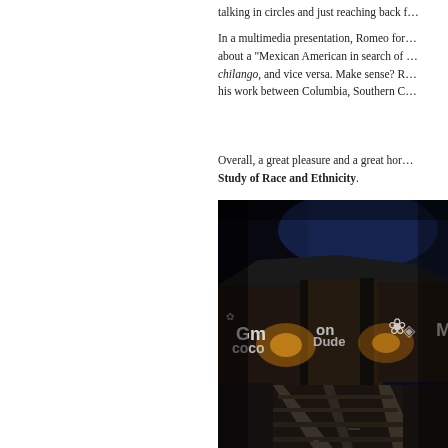talking in circles and just reaching back f…
In a multimedia presentation, Romeo for… about a "Mexican American in search of … chilango, and vice versa. Make sense? R… his work between Columbia, Southern C…
Overall, a great pleasure and a great hor… Study of Race and Ethnicity.
[Figure (photo): Dark subway tunnel with graffiti on concrete walls, railroad tracks visible in foreground, dim warm lights illuminate graffiti tags in white paint on dark brown/grey walls]